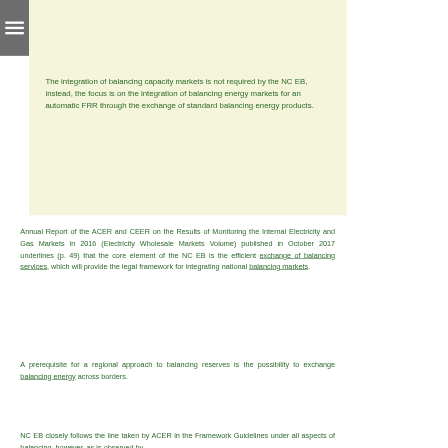The integration of balancing capacity markets is not required by the NC EB, instead, the focus is on the integration of balancing energy markets for an automatic FRR through the exchange of standard balancing energy products.
Annual Report of the ACER and CEER on the Results of Monitoring the Internal Electricity and Gas Markets in 2016 (Electricity Wholesale Markets Volume) published in October 2017 underlines (p. 49) that the core element of the NC EB is the efficient exchange of balancing services, which will provide the legal framework for integrating national balancing markets.
A prerequisite for a regional approach to balancing reserves is the possibility to exchange balancing energy across borders.
NC EB closely follows the line taken by ACER in the Framework Guidelines under all aspects of balancing, however, as is observed by